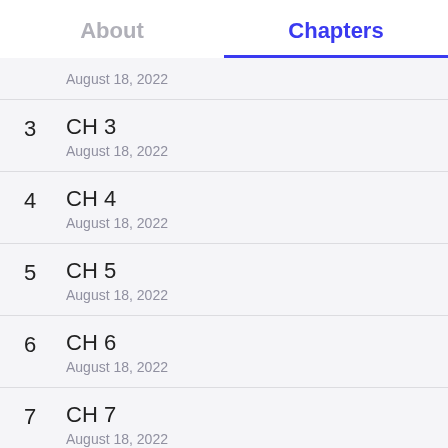About
Chapters
August 18, 2022
3  CH 3
August 18, 2022
4  CH 4
August 18, 2022
5  CH 5
August 18, 2022
6  CH 6
August 18, 2022
7  CH 7
August 18, 2022
8  CH 8
August 18, 2022
9  CH 9